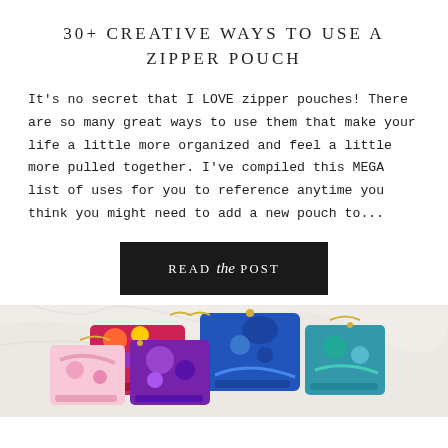30+ CREATIVE WAYS TO USE A ZIPPER POUCH
It’s no secret that I LOVE zipper pouches! There are so many great ways to use them that make your life a little more organized and feel a little more pulled together. I’ve compiled this MEGA list of uses for you to reference anytime you think you might need to add a new pouch to…
READ the POST
[Figure (photo): Colorful zipper pouches arranged on a white marble surface, showing floral and patterned fabrics in blue, pink, purple, and multicolor designs.]